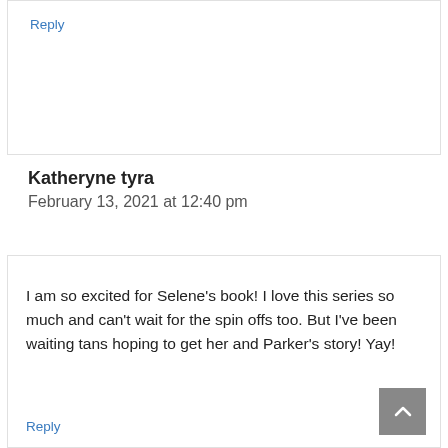Reply
Katheryne tyra
February 13, 2021 at 12:40 pm
I am so excited for Selene’s book! I love this series so much and can’t wait for the spin offs too. But I’ve been waiting tans hoping to get her and Parker’s story! Yay!
Reply